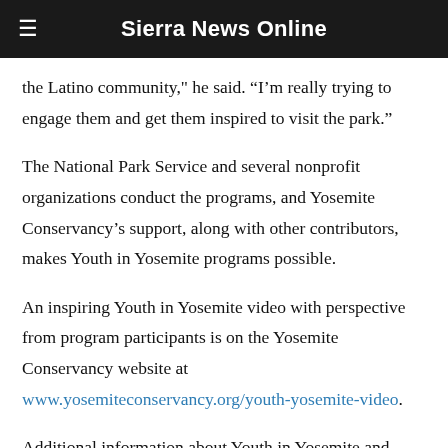Sierra News Online
the Latino community," he said. “I’m really trying to engage them and get them inspired to visit the park.”
The National Park Service and several nonprofit organizations conduct the programs, and Yosemite Conservancy’s support, along with other contributors, makes Youth in Yosemite programs possible.
An inspiring Youth in Yosemite video with perspective from program participants is on the Yosemite Conservancy website at www.yosemiteconservancy.org/youth-yosemite-video.
Additional information about Youth in Yosemite and other Conservancy work is at www.yosemiteconservancy.org/2013-projects.